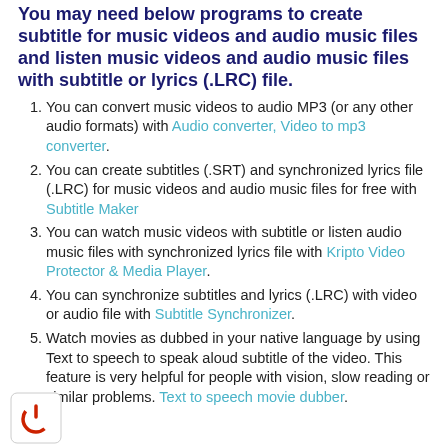You may need below programs to create subtitle for music videos and audio music files and listen music videos and audio music files with subtitle or lyrics (.LRC) file.
You can convert music videos to audio MP3 (or any other audio formats) with Audio converter, Video to mp3 converter.
You can create subtitles (.SRT) and synchronized lyrics file (.LRC) for music videos and audio music files for free with Subtitle Maker
You can watch music videos with subtitle or listen audio music files with synchronized lyrics file with Kripto Video Protector & Media Player.
You can synchronize subtitles and lyrics (.LRC) with video or audio file with Subtitle Synchronizer.
Watch movies as dubbed in your native language by using Text to speech to speak aloud subtitle of the video. This feature is very helpful for people with vision, slow reading or similar problems. Text to speech movie dubber.
[Figure (logo): Red power button icon in a small square at the bottom left]